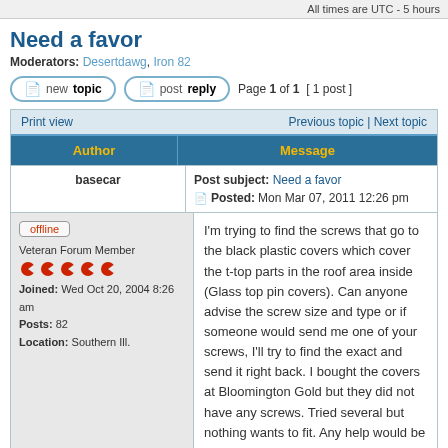All times are UTC - 5 hours
Need a favor
Moderators: Desertdawg, Iron 82
new topic   post reply   Page 1 of 1  [ 1 post ]
| Author | Message |
| --- | --- |
| basecar | Post subject: Need a favor
Posted: Mon Mar 07, 2011 12:26 pm |
| offline
Veteran Forum Member
Joined: Wed Oct 20, 2004 8:26 am
Posts: 82
Location: Southern Ill. | I'm trying to find the screws that go to the black plastic covers which cover the t-top parts in the roof area inside (Glass top pin covers). Can anyone advise the screw size and type or if someone would send me one of your screws, I'll try to find the exact and send it right back. I bought the covers at Bloomington Gold but they did not have any screws. Tried several but nothing wants to fit. Any help would be appreciated. |